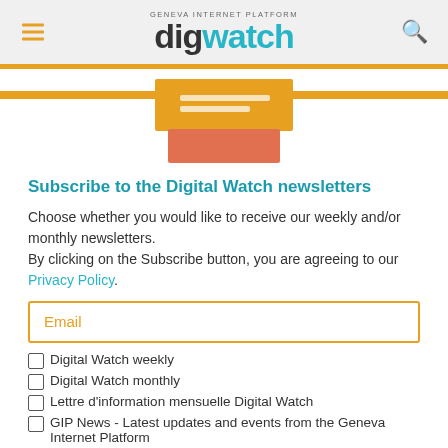digwatch — Geneva Internet Platform
[Figure (illustration): Newsletter subscription illustration with orange inbox/mailbox icon on orange horizontal line]
Subscribe to the Digital Watch newsletters
Choose whether you would like to receive our weekly and/or monthly newsletters.
By clicking on the Subscribe button, you are agreeing to our Privacy Policy.
Email (input field)
Digital Watch weekly
Digital Watch monthly
Lettre d'information mensuelle Digital Watch
GIP News - Latest updates and events from the Geneva Internet Platform